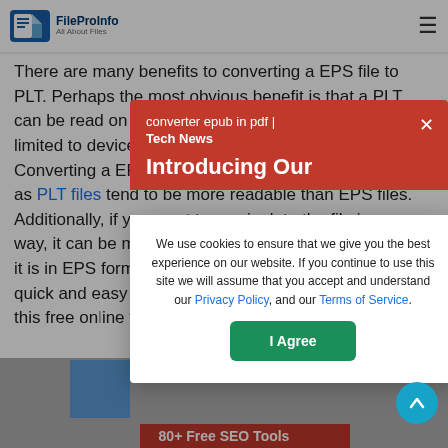FileProInfo | All About Files — navigation bar with logo and hamburger menu
There are many benefits to converting a EPS file to PLT. Perhaps the most obvious benefit is that a PLT can be read on any device, whereas EPS files are limited to devices that support the EPS format. Converting a EPS to PLT also makes it easier to edit, as PLT files tend to be more readable than EPS files. Additionally, if you want to manipulate the file in any way, it can be much easier to do so in PLT format than it is in EPS format. Finally, converting a EPS to PLT is a quick and easy process that can be done for free using this free online tool.
[Figure (screenshot): Red popup modal with title 'converter epub in pdf | Tech News' and headline 'Introducing Our', overlaid on page content, with a close X button.]
We use cookies to ensure that we give you the best experience on our website. If you continue to use this site we will assume that you accept and understand our Privacy Policy, and our Terms of Service.
[Figure (screenshot): Cookie consent popup with 'I Agree' green button at the bottom. Contains links to Privacy Policy and Terms of Service.]
[Figure (screenshot): Bottom image area showing partial infographic with blue bar and red bar labeled '80+ Free SEO Tools' partially visible.]
[Figure (other): Teal scroll-to-top circular button with upward arrow in bottom right corner.]